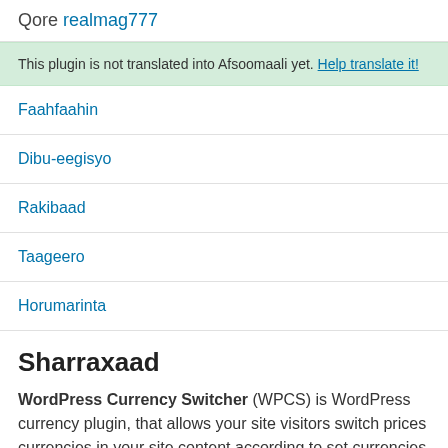Qore realmag777
This plugin is not translated into Afsoomaali yet. Help translate it!
Faahfaahin
Dibu-eegisyo
Rakibaad
Taageero
Horumarinta
Sharraxaad
WordPress Currency Switcher (WPCS) is WordPress currency plugin, that allows your site visitors switch prices currencies in your site content according to set currencies rates in the real time!